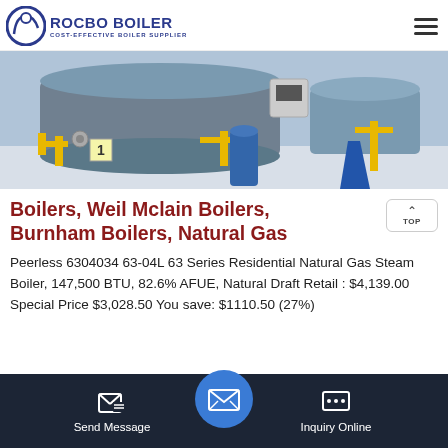ROCBO BOILER — COST-EFFECTIVE BOILER SUPPLIER
[Figure (photo): Industrial boiler room with multiple large blue cylindrical steam boilers, yellow gas pipes, and associated control panels on a white floor.]
Boilers, Weil Mclain Boilers, Burnham Boilers, Natural Gas
Peerless 6304034 63-04L 63 Series Residential Natural Gas Steam Boiler, 147,500 BTU, 82.6% AFUE, Natural Draft Retail : $4,139.00 Special Price $3,028.50 You save: $1110.50 (27%)
Send Message | Inquiry Online